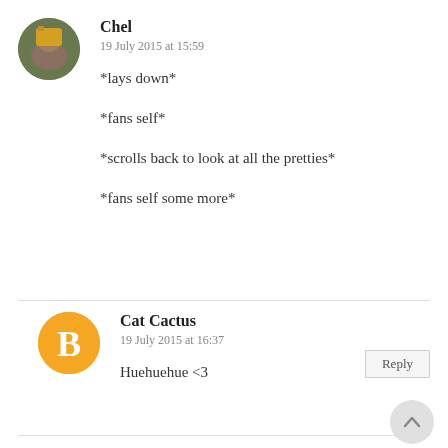Chel
19 July 2015 at 15:59
*lays down*

*fans self*

*scrolls back to look at all the pretties*

*fans self some more*
Reply
Cat Cactus
19 July 2015 at 16:37
Huehuehue <3